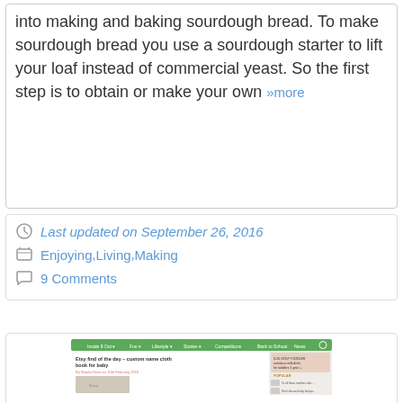into making and baking sourdough bread. To make sourdough bread you use a sourdough starter to lift your loaf instead of commercial yeast. So the first step is to obtain or make your own »more
Last updated on September 26, 2016
Enjoying, Living, Making
9 Comments
[Figure (screenshot): Screenshot of a website showing an article titled 'Etsy find of the day – custom name cloth book for baby']
Etsy find of the day!